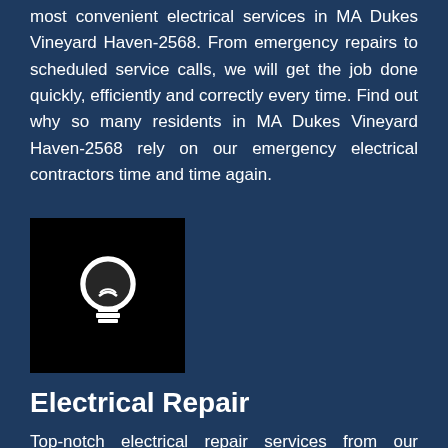most convenient electrical services in MA Dukes Vineyard Haven-2568. From emergency repairs to scheduled service calls, we will get the job done quickly, efficiently and correctly every time. Find out why so many residents in MA Dukes Vineyard Haven-2568 rely on our emergency electrical contractors time and time again.
[Figure (illustration): Black square icon with a white lightbulb symbol in the center]
Electrical Repair
Top-notch electrical repair services from our qualified electricians will keep your buildings and